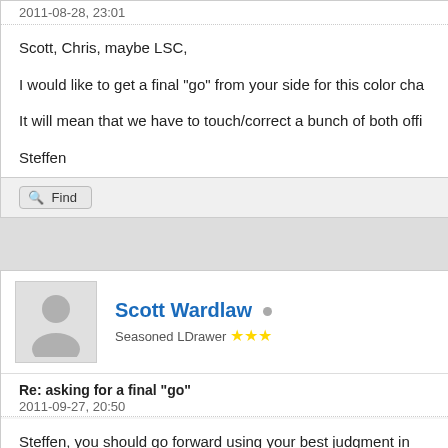2011-08-28, 23:01
Scott, Chris, maybe LSC,
I would like to get a final "go" from your side for this color cha
It will mean that we have to touch/correct a bunch of both offi
Steffen
Find
Scott Wardlaw
Seasoned LDrawer ★★★
Re: asking for a final "go"
2011-09-27, 20:50
Steffen, you should go forward using your best judgment in
Scott